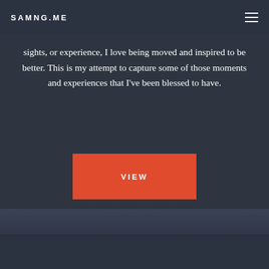SAMNG.ME
sights, or experience, I love being moved and inspired to be better. This is my attempt to capture some of those moments and experiences that I've been blessed to have.
VIEW
[Figure (photo): Sunset over water with dramatic light reflection, dark foreground vegetation and diagonal railing or jetty element.]
[Figure (infographic): Four social media/contact icon circles: LinkedIn (cyan), Twitter (cyan), Email (salmon/pink), Person/profile (cyan)]